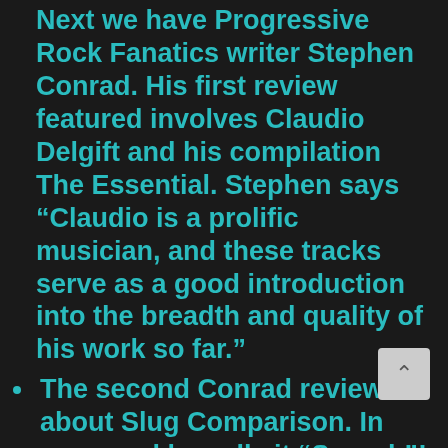Next we have Progressive Rock Fanatics writer Stephen Conrad. His first review featured involves Claudio Delgift and his compilation The Essential. Stephen says “Claudio is a prolific musician, and these tracks serve as a good introduction into the breadth and quality of his work so far.”
The second Conrad review is about Slug Comparison. In one word he calls it “Superb”!
In Canada’s The Georgia Straight, Slug Comparison is named Album Of The Week by writer Mike Usinger!